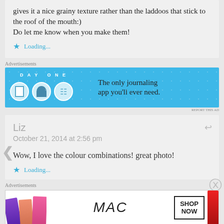gives it a nice grainy texture rather than the laddoos that stick to the roof of the mouth:)
Do let me know when you make them!
Loading...
Advertisements
[Figure (screenshot): DAY ONE journaling app advertisement banner - blue background with app icons and text 'The only journaling app you'll ever need.']
REPORT THIS AD
Liz
October 21, 2014 at 2:56 pm
Wow, I love the colour combinations! great photo!
Loading...
Advertisements
[Figure (screenshot): MAC cosmetics advertisement banner showing lipsticks in purple, peach, pink, red colors with MAC logo and SHOP NOW button]